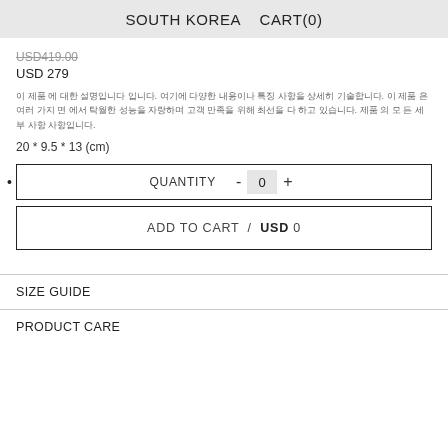SOUTH KOREA   CART(0)
USD419.00
USD 279
이 제품 에 대한 설명입니다 입니다. 여기에 다양한 내용이나 특징 사항을 상세히 기술합니다. 이 제품 은 여러 가지 면 에서 탁월한 성능을 자랑하며 고객 만족을 위해 최선을 다 하고 있습니다. 제품 의 모 든 세부 사항 사항입니다.
20 * 9.5 * 13 (cm)
QUANTITY  -  0  +
ADD TO CART  /  USD 0
SIZE GUIDE
PRODUCT CARE